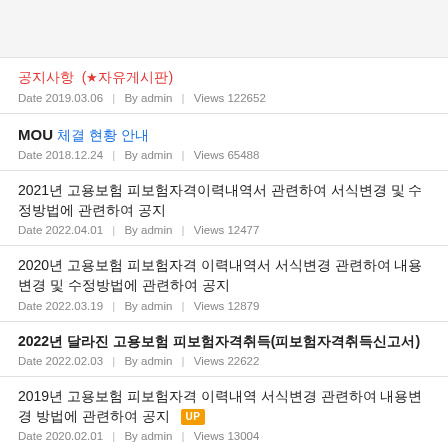공지사항 (★자유게시판)
Date 2019.03.06  |  By admin  |  Views 122652
MOU 체결 현황 안내
Date 2018.12.24  |  By admin  |  Views 65488
2021년 고용보험 피보험자격이력내역서 관련하여 서식변경 및 수정방법에 관련하여 공지
Date 2022.04.01  |  By admin  |  Views 12477
2020년 고용보험 피보험자격 이력내역서 서식변경 관련하여 내용변경 및 수정방법에 관련하여 공지
Date 2022.03.19  |  By admin  |  Views 12879
2022년 달라진 고용보험 피보험자격취득(피보험자격취득신고서)
Date 2022.02.03  |  By admin  |  Views 22622
2019년 고용보험 피보험자격 이력내역 서식변경 관련하여 내용변경 방법에 관련하여 공지 UP
Date 2020.02.01  |  By admin  |  Views 13004